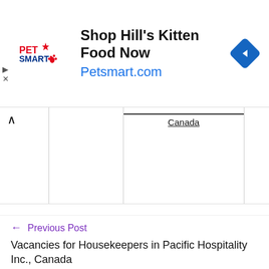[Figure (screenshot): PetSmart advertisement banner: 'Shop Hill's Kitten Food Now Petsmart.com' with PetSmart logo and blue diamond navigation icon]
|  |  | Canada |  |
| --- | --- | --- | --- |
|  |
← Previous Post
Vacancies for Housekeepers in Pacific Hospitality Inc., Canada
Next Post →
Vacancies for Taxi Drivers in Penticton Eco Taxi Ltd.,
[Figure (screenshot): Petco advertisement banner: 'Your Pet's Summer Gear Is Here Petco' with Petco logo and blue diamond navigation icon]